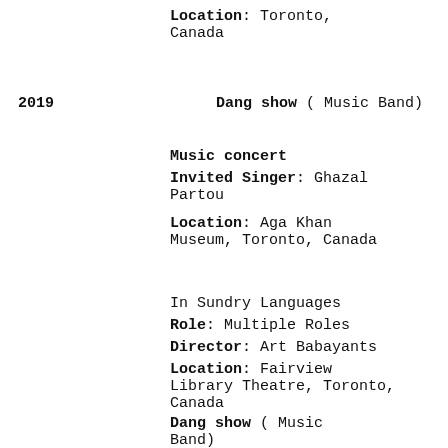Location: Toronto, Canada
2019    Dang show ( Music Band)
Music concert
Invited Singer: Ghazal Partou
Location: Aga Khan Museum, Toronto, Canada
In Sundry Languages
Role: Multiple Roles
Director: Art Babayants
Location: Fairview Library Theatre, Toronto, Canada
Dang show ( Music Band)